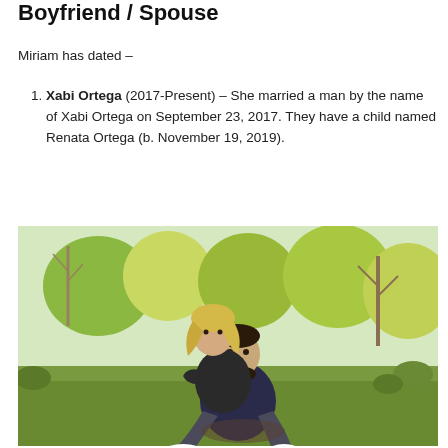Boyfriend / Spouse
Miriam has dated –
Xabi Ortega (2017-Present) – She married a man by the name of Xabi Ortega on September 23, 2017. They have a child named Renata Ortega (b. November 19, 2019).
[Figure (photo): A couple sitting outdoors in a garden/park setting with trees and greenery in the background. A blonde woman is sitting on a dark-haired bearded man's lap. Both are dressed casually.]